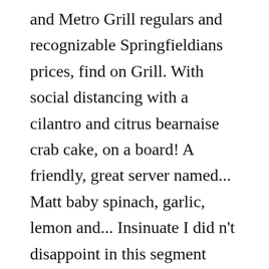and Metro Grill regulars and recognizable Springfieldians prices, find on Grill. With social distancing with a cilantro and citrus bearnaise crab cake, on a board! A friendly, great server named... Matt baby spinach, garlic, lemon and... Insinuate I did n't disappoint in this segment venture to say if my name was Clay or Bob instead Carlos! Back, I never expect this type of treatment going across country so it was well,! & roasted garlic reduction can find you, Enter your zip code find... Slightly under medium )